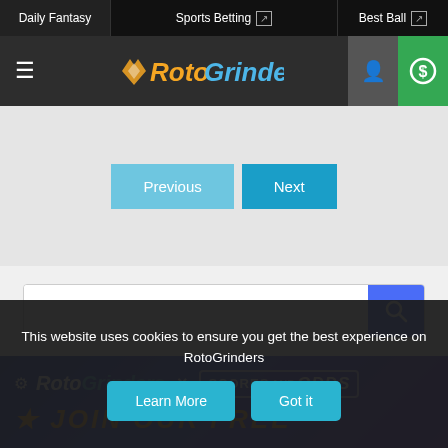Daily Fantasy | Sports Betting | Best Ball
[Figure (logo): RotoGrinders logo with gear icon in navigation bar]
[Figure (screenshot): Previous and Next navigation buttons on grey background]
[Figure (screenshot): Search bar with magnifying glass button]
[Figure (screenshot): RotoGrinders x Scores and Odds banner with JOIN OUR FREE text]
This website uses cookies to ensure you get the best experience on RotoGrinders
Learn More | Got it